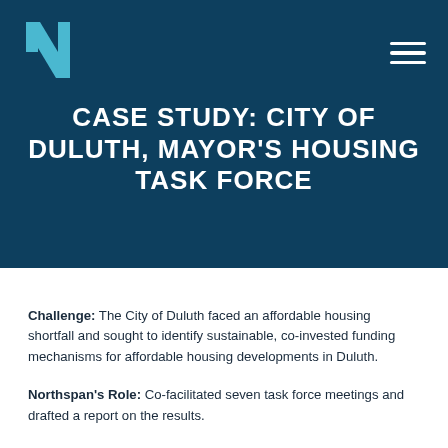[Figure (logo): Northspan 'N' logo in teal/cyan on dark teal background]
CASE STUDY: CITY OF DULUTH, MAYOR'S HOUSING TASK FORCE
Challenge: The City of Duluth faced an affordable housing shortfall and sought to identify sustainable, co-invested funding mechanisms for affordable housing developments in Duluth.
Northspan's Role: Co-facilitated seven task force meetings and drafted a report on the results.